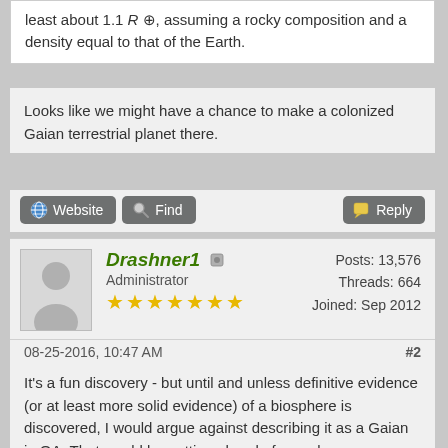least about 1.1 R⊕, assuming a rocky composition and a density equal to that of the Earth.
Looks like we might have a chance to make a colonized Gaian terrestrial planet there.
Website  Find  Reply
Drashner1  Administrator ★★★★★★★  Posts: 13,576  Threads: 664  Joined: Sep 2012
08-25-2016, 10:47 AM  #2
It's a fun discovery - but until and unless definitive evidence (or at least more solid evidence) of a biosphere is discovered, I would argue against describing it as a Gaian in OA. That would be getting ahead of ourselves.

My 2c worth,

Todd
Todd